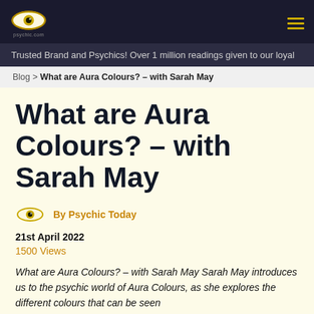psychic.com
Trusted Brand and Psychics! Over 1 million readings given to our loyal
Blog > What are Aura Colours? – with Sarah May
What are Aura Colours? – with Sarah May
By Psychic Today
21st April 2022
1500 Views
What are Aura Colours? – with Sarah May Sarah May introduces us to the psychic world of Aura Colours, as she explores the different colours that can be seen